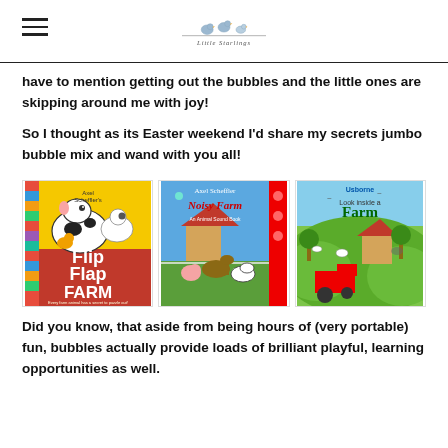Little Starlings
have to mention getting out the bubbles and the little ones are skipping around me with joy!
So I thought as its Easter weekend I'd share my secrets jumbo bubble mix and wand with you all!
[Figure (photo): Three children's farm-themed books side by side: 'Flip Flap Farm' by Axel Scheffler, 'Axel Scheffler Noisy Farm An Animal Sound Book', and 'Usborne Look Inside a Farm']
Did you know, that aside from being hours of (very portable) fun, bubbles actually provide loads of brilliant playful, learning opportunities as well.